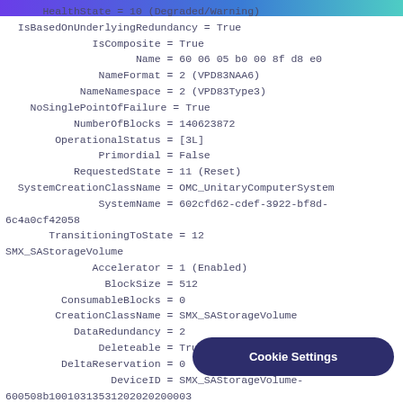HealthState = 10 (Degraded/Warning)
IsBasedOnUnderlyingRedundancy = True
IsComposite = True
Name = 60 06 05 b0 00 8f d8 e0
NameFormat = 2 (VPD83NAA6)
NameNamespace = 2 (VPD83Type3)
NoSinglePointOfFailure = True
NumberOfBlocks = 140623872
OperationalStatus = [3L]
Primordial = False
RequestedState = 11 (Reset)
SystemCreationClassName = OMC_UnitaryComputerSystem
SystemName = 602cfd62-cdef-3922-bf8d-6c4a0cf42058
TransitioningToState = 12
SMX_SAStorageVolume
Accelerator = 1 (Enabled)
BlockSize = 512
ConsumableBlocks = 0
CreationClassName = SMX_SAStorageVolume
DataRedundancy = 2
Deleteable = True
DeltaReservation = 0
DeviceID = SMX_SAStorageVolume-600508b10010313531202020200003
ElementName = Logical Volume 0 (RAID 1)
EnabledDefault = 2 (Enabled)
EnabledState = 5 (Not Applicable)
ExtentStatus = [11L]
FaultTolerance = 2
HealthState =
IsBasedOnUnderlyingRedundancy = F